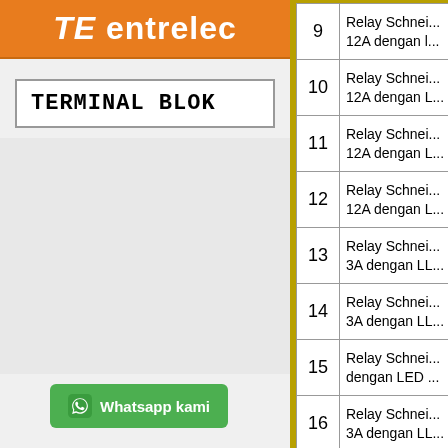[Figure (logo): TE entrelec logo with orange background, italic TE and bold entrelec text in white]
TERMINAL BLOK
[Figure (other): Whatsapp kami green button with icon]
| No | Deskripsi |
| --- | --- |
| 9 | Relay Schnei... 12A dengan l... |
| 10 | Relay Schnei... 12A dengan L... |
| 11 | Relay Schnei... 12A dengan L... |
| 12 | Relay Schnei... 12A dengan L... |
| 13 | Relay Schnei... 3A dengan LL... |
| 14 | Relay Schnei... 3A dengan LL... |
| 15 | Relay Schnei... dengan LED ... |
| 16 | Relay Schnei... 3A dengan LL... |